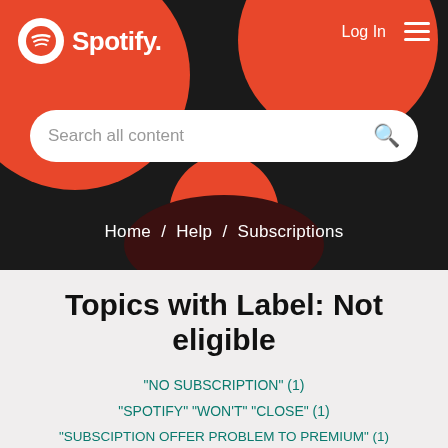[Figure (screenshot): Spotify website header with logo, navigation links (Log In, hamburger menu), red and dark decorative circles on black background, and a search bar reading 'Search all content']
Home / Help / Subscriptions
Topics with Label: Not eligible
"NO SUBSCRIPTION" (1)
"SPOTIFY" "WON'T" "CLOSE" (1)
"SUBSCIPTION OFFER PROBLEM TO PREMIUM" (1)
$0.99 (2)